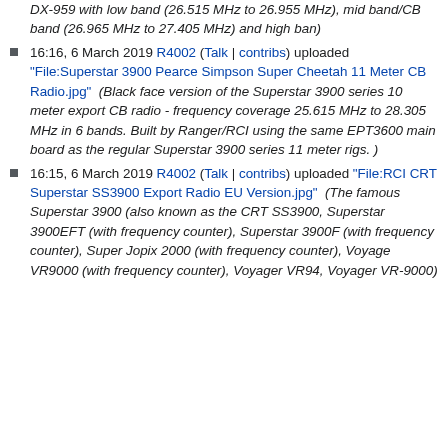DX-959 with low band (26.515 MHz to 26.955 MHz), mid band/CB band (26.965 MHz to 27.405 MHz) and high ban)
16:16, 6 March 2019 R4002 (Talk | contribs) uploaded "File:Superstar 3900 Pearce Simpson Super Cheetah 11 Meter CB Radio.jpg" (Black face version of the Superstar 3900 series 10 meter export CB radio - frequency coverage 25.615 MHz to 28.305 MHz in 6 bands. Built by Ranger/RCI using the same EPT3600 main board as the regular Superstar 3900 series 11 meter rigs. )
16:15, 6 March 2019 R4002 (Talk | contribs) uploaded "File:RCI CRT Superstar SS3900 Export Radio EU Version.jpg" (The famous Superstar 3900 (also known as the CRT SS3900, Superstar 3900EFT (with frequency counter), Superstar 3900F (with frequency counter), Super Jopix 2000 (with frequency counter), Voyage VR9000 (with frequency counter), Voyager VR94, Voyager VR-9000)